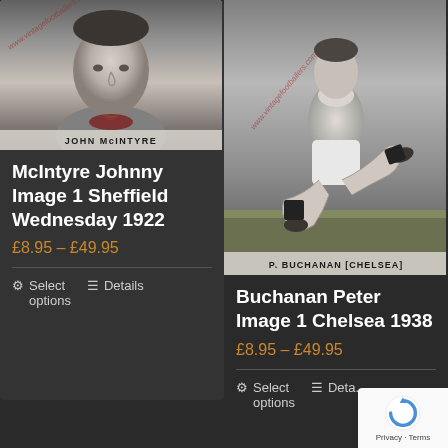[Figure (photo): Vintage black and white football card photo of John McIntyre, Sheffield Wednesday 1922, with watermark 'www.vintagefootballers...' and caption 'JOHN McINTYRE' at the bottom]
McIntyre Johnny Image 1 Sheffield Wednesday 1922
£8.95 – £49.95
Select options
Details
[Figure (photo): Vintage black and white football card photo of P. Buchanan (Chelsea) in action pose, with watermark 'www.vintagefootballers.com' and caption 'P. BUCHANAN [CHELSEA]' at the bottom]
Buchanan Peter Image 1 Chelsea 1938
£8.95 – £49.95
Select options
Details